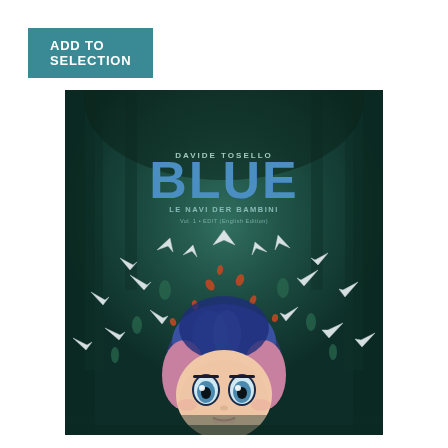ADD TO SELECTION
[Figure (illustration): Book cover of 'BLUE' by Davide Tosello. A manga/anime-style illustration showing a girl with blue and pink hair looking upward with wide eyes, surrounded by many white paper airplanes and small figures in a dark teal forest setting. The title 'BLUE' is displayed prominently in large blue letters, with 'DAVIDE TOSELLO' above it and subtitle text below.]